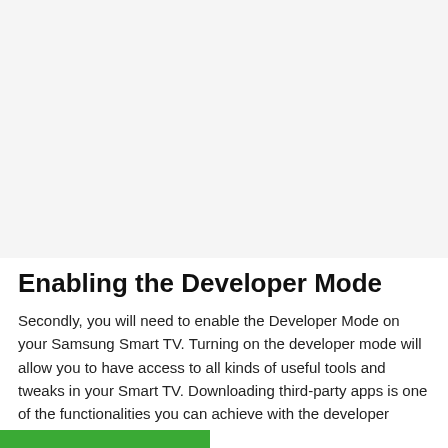[Figure (photo): Large image placeholder area at top of page, light gray background]
Enabling the Developer Mode
Secondly, you will need to enable the Developer Mode on your Samsung Smart TV. Turning on the developer mode will allow you to have access to all kinds of useful tools and tweaks in your Smart TV. Downloading third-party apps is one of the functionalities you can achieve with the developer mode.